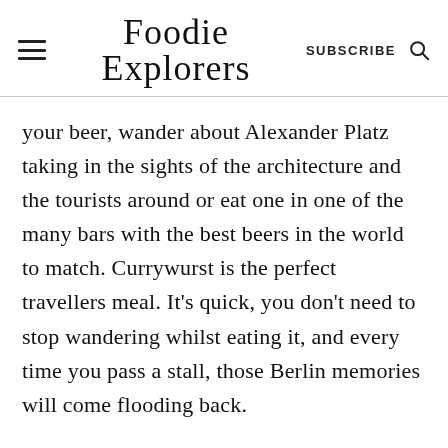Foodie Explorers  SUBSCRIBE
your beer, wander about Alexander Platz taking in the sights of the architecture and the tourists around or eat one in one of the many bars with the best beers in the world to match. Currywurst is the perfect travellers meal. It’s quick, you don’t need to stop wandering whilst eating it, and every time you pass a stall, those Berlin memories will come flooding back.